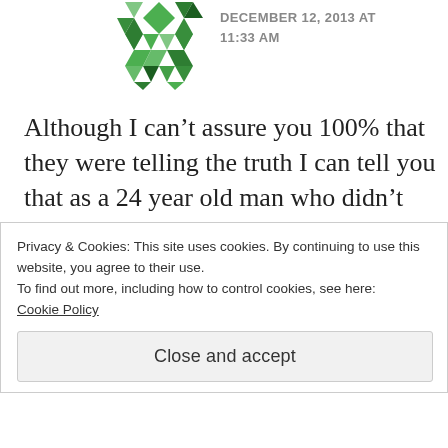[Figure (illustration): Green geometric avatar icon made of triangles and diamond shapes in a Gravatar-style pattern]
DECEMBER 12, 2013 AT
11:33 AM
Although I can’t assure you 100% that they were telling the truth I can tell you that as a 24 year old man who didn’t submit a response I COMPLETELY AGREE with the comments I read. As a man still searching for his wife it gets
Privacy & Cookies: This site uses cookies. By continuing to use this website, you agree to their use.
To find out more, including how to control cookies, see here:
Cookie Policy
Close and accept